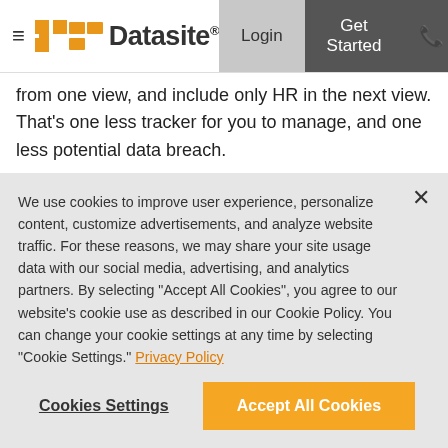Datasite — Login | Get Started
from one view, and include only HR in the next view. That's one less tracker for you to manage, and one less potential data breach.
What else can assigned views do? Well, maybe you want your accounting team to focus more on mission-critical items, rather than sub-$1,000 line items. So just filter out any workstream row that
We use cookies to improve user experience, personalize content, customize advertisements, and analyze website traffic. For these reasons, we may share your site usage data with our social media, advertising, and analytics partners. By selecting "Accept All Cookies", you agree to our website's cookie use as described in our Cookie Policy. You can change your cookie settings at any time by selecting "Cookie Settings." Privacy Policy
Cookies Settings
Accept All Cookies